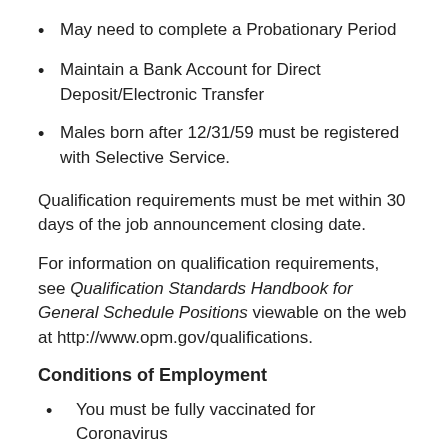May need to complete a Probationary Period
Maintain a Bank Account for Direct Deposit/Electronic Transfer
Males born after 12/31/59 must be registered with Selective Service.
Qualification requirements must be met within 30 days of the job announcement closing date.
For information on qualification requirements, see Qualification Standards Handbook for General Schedule Positions viewable on the web at http://www.opm.gov/qualifications.
Conditions of Employment
You must be fully vaccinated for Coronavirus